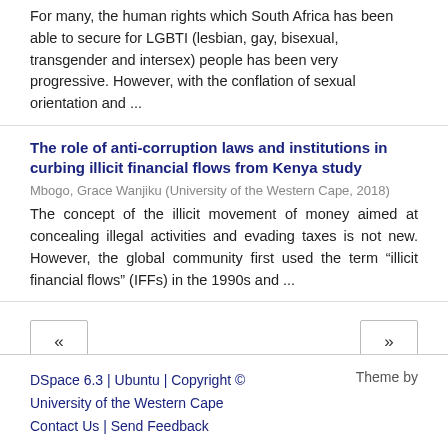For many, the human rights which South Africa has been able to secure for LGBTI (lesbian, gay, bisexual, transgender and intersex) people has been very progressive. However, with the conflation of sexual orientation and ...
The role of anti-corruption laws and institutions in curbing illicit financial flows from Kenya study
Mbogo, Grace Wanjiku (University of the Western Cape, 2018)
The concept of the illicit movement of money aimed at concealing illegal activities and evading taxes is not new. However, the global community first used the term “illicit financial flows” (IFFs) in the 1990s and ...
DSpace 6.3 | Ubuntu | Copyright © University of the Western Cape
Contact Us | Send Feedback
Theme by